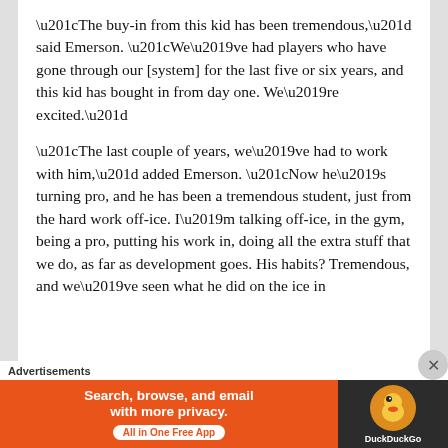“The buy-in from this kid has been tremendous,” said Emerson. “We’ve had players who have gone through our [system] for the last five or six years, and this kid has bought in from day one. We’re excited.”
“The last couple of years, we’ve had to work with him,” added Emerson. “Now he’s turning pro, and he has been a tremendous student, just from the hard work off-ice. I’m talking off-ice, in the gym, being a pro, putting his work in, doing all the extra stuff that we do, as far as development goes. His habits? Tremendous, and we’ve seen what he did on the ice in
[truncated line]
Advertisements
[Figure (other): DuckDuckGo advertisement banner: orange background on left with text 'Search, browse, and email with more privacy. All in One Free App' and a white pill-shaped button, dark right panel with DuckDuckGo duck logo]